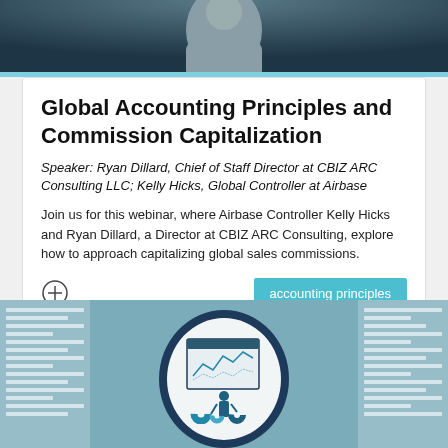[Figure (photo): Top portion showing a person (speaker) against a dark teal/navy background, partially cropped]
Global Accounting Principles and Commission Capitalization
Speaker: Ryan Dillard, Chief of Staff Director at CBIZ ARC Consulting LLC; Kelly Hicks, Global Controller at Airbase
Join us for this webinar, where Airbase Controller Kelly Hicks and Ryan Dillard, a Director at CBIZ ARC Consulting, explore how to approach capitalizing global sales commissions.
accounting principles
[Figure (illustration): Illustration showing a person analyzing charts and data on a board, with circular frame, teal blue color scheme, surrounded by document/report backgrounds]